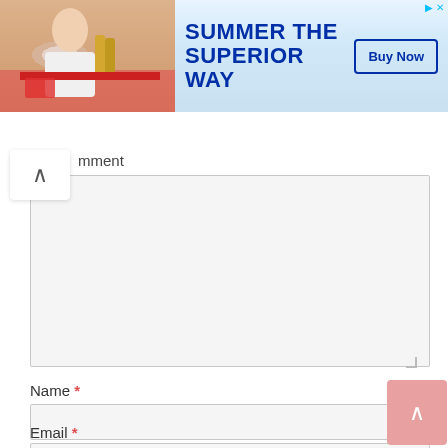[Figure (screenshot): Advertisement banner: photo of person with beer bottles on left, 'SUMMER THE SUPERIOR WAY' text in blue on gradient background, 'Buy Now' button on right]
mment
Name *
Email *